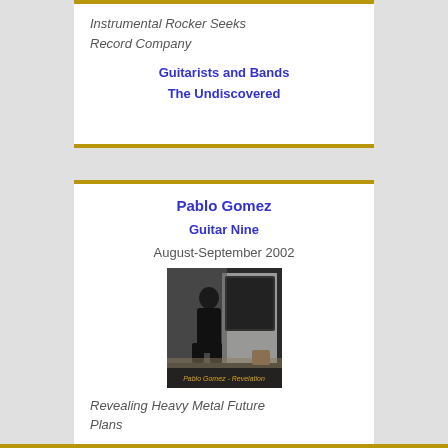Instrumental Rocker Seeks Record Company
Guitarists and Bands
The Undiscovered
Pablo Gomez
Guitar Nine
August-September 2002
[Figure (photo): Album cover photo of Pablo Gomez - Revelation showing a person standing in front of amplifiers]
Revealing Heavy Metal Future Plans
Guitarists and Bands
The Undiscovered